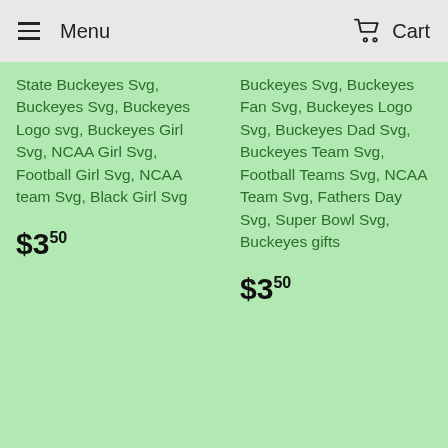Menu   Cart
State Buckeyes Svg, Buckeyes Svg, Buckeyes Logo svg, Buckeyes Girl Svg, NCAA Girl Svg, Football Girl Svg, NCAA team Svg, Black Girl Svg
$3.50
Buckeyes Svg, Buckeyes Fan Svg, Buckeyes Logo Svg, Buckeyes Dad Svg, Buckeyes Team Svg, Football Teams Svg, NCAA Team Svg, Fathers Day Svg, Super Bowl Svg, Buckeyes gifts
$3.50